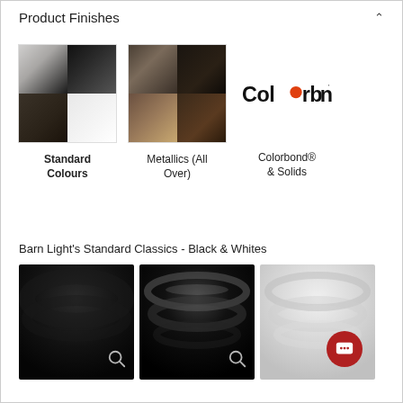Product Finishes
[Figure (illustration): Standard Colours swatch - 2x2 grid showing silver, black, dark brown, and white finishes]
Standard Colours
[Figure (illustration): Metallics (All Over) swatch - 2x2 grid showing dark metallic brown tones]
Metallics (All Over)
[Figure (logo): Colorbond logo with orange circle replacing the 'o']
Colorbond® & Solids
Barn Light's Standard Classics - Black & Whites
[Figure (photo): Matte black finish swatch]
[Figure (photo): Gloss black finish swatch]
[Figure (photo): White/silver finish swatch with chat button overlay]